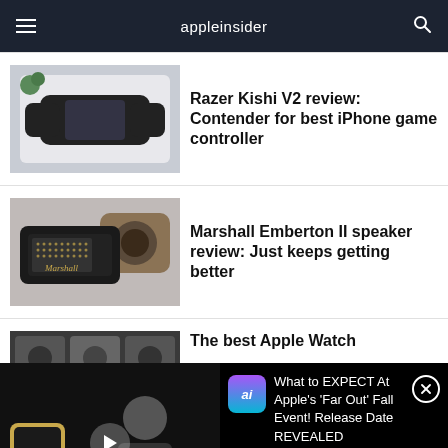appleinsider
Razer Kishi V2 review: Contender for best iPhone game controller
Marshall Emberton II speaker review: Just keeps getting better
The best Apple Watch
What to EXPECT At Apple's 'Far Out' Fall Event! Release Date REVEALED